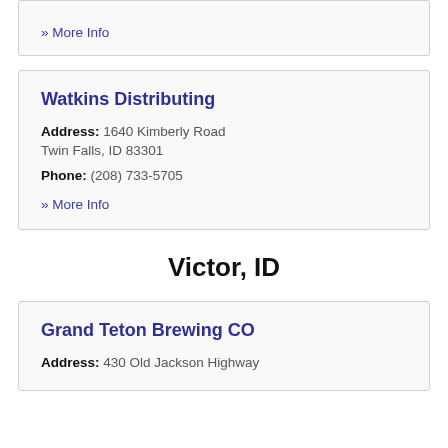» More Info
Watkins Distributing
Address: 1640 Kimberly Road Twin Falls, ID 83301
Phone: (208) 733-5705
» More Info
Victor, ID
Grand Teton Brewing CO
Address: 430 Old Jackson Highway